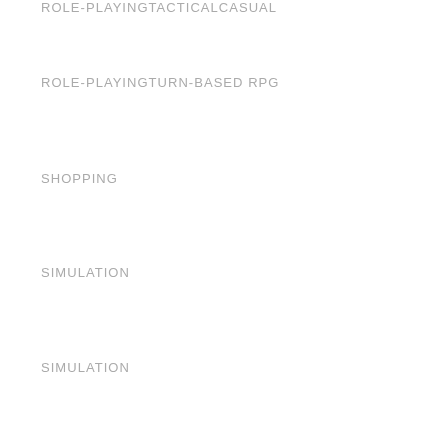ROLE-PLAYINGTACTICALCASUAL
ROLE-PLAYINGTURN-BASED RPG
SHOPPING
SIMULATION
SIMULATION
SIMULATIONACTION & ADVENTURE
SIMULATIONBRAIN GAMES
SIMULATIONCAREBABYCASUAL
SIMULATIONCARECASUAL
SIMULATIONCAREDENTISTCASUAL
SIMULATIONCAREDOCTORCASUAL
SIMULATIONCAREPET